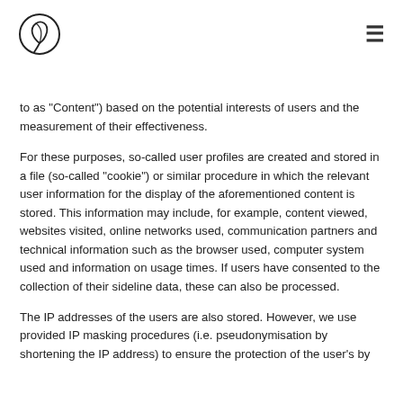[Logo] [Hamburger menu]
...（partially visible）to as "Content") based on the potential interests of users and the measurement of their effectiveness.
For these purposes, so-called user profiles are created and stored in a file (so-called "cookie") or similar procedure in which the relevant user information for the display of the aforementioned content is stored. This information may include, for example, content viewed, websites visited, online networks used, communication partners and technical information such as the browser used, computer system used and information on usage times. If users have consented to the collection of their sideline data, these can also be processed.
The IP addresses of the users are also stored. However, we use provided IP masking procedures (i.e. pseudonymisation by shortening the IP address) to ensure the protection of the user's by ...（partially visible）